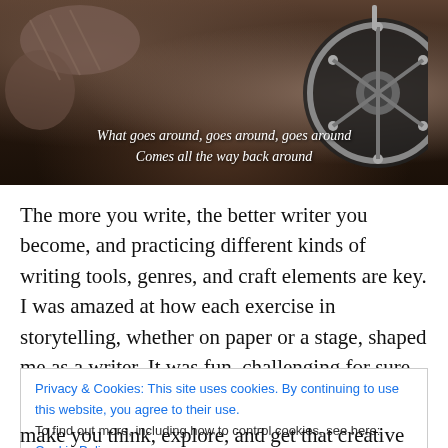[Figure (photo): A person working on a mechanical wheel/drum. Overlaid italic text reads: 'What goes around, goes around, goes around / Comes all the way back around']
The more you write, the better writer you become, and practicing different kinds of writing tools, genres, and craft elements are key. I was amazed at how each exercise in storytelling, whether on paper or a stage, shaped me as a writer. It was fun, challenging for sure, but rewarding across the board.
Privacy & Cookies: This site uses cookies. By continuing to use this website, you agree to their use. To find out more, including how to control cookies, see here: Cookie Policy [Close and accept]
make you think, explore, and get that creative blood